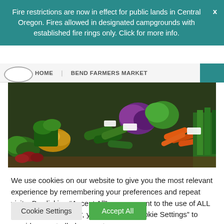Fire restrictions are now in effect for public lands in Central Oregon. Fires allowed in designated campgrounds with established fire rings only. Click for more info.
HOME   BEND FARMERS MARKET
[Figure (photo): A farmers market produce stand showing vegetables including cabbages, zucchini, carrots, potatoes, greens and herbs arranged on a table.]
We use cookies on our website to give you the most relevant experience by remembering your preferences and repeat visits. By clicking “Accept All”, you consent to the use of ALL the cookies. However, you may visit “Cookie Settings” to provide a controlled consent.